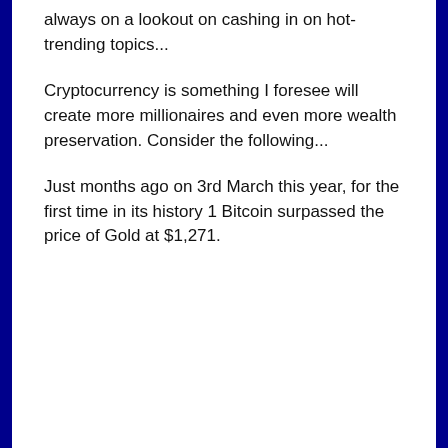always on a lookout on cashing in on hot-trending topics...
Cryptocurrency is something I foresee will create more millionaires and even more wealth preservation. Consider the following...
Just months ago on 3rd March this year, for the first time in its history 1 Bitcoin surpassed the price of Gold at $1,271.